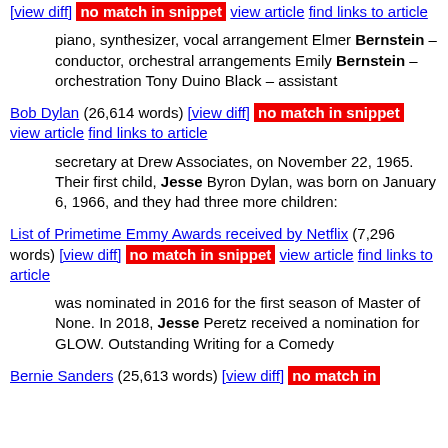[view diff] no match in snippet view article find links to article
piano, synthesizer, vocal arrangement Elmer Bernstein – conductor, orchestral arrangements Emily Bernstein – orchestration Tony Duino Black – assistant
Bob Dylan (26,614 words) [view diff] no match in snippet view article find links to article
secretary at Drew Associates, on November 22, 1965. Their first child, Jesse Byron Dylan, was born on January 6, 1966, and they had three more children:
List of Primetime Emmy Awards received by Netflix (7,296 words) [view diff] no match in snippet view article find links to article
was nominated in 2016 for the first season of Master of None. In 2018, Jesse Peretz received a nomination for GLOW. Outstanding Writing for a Comedy
Bernie Sanders (25,613 words) [view diff] no match in